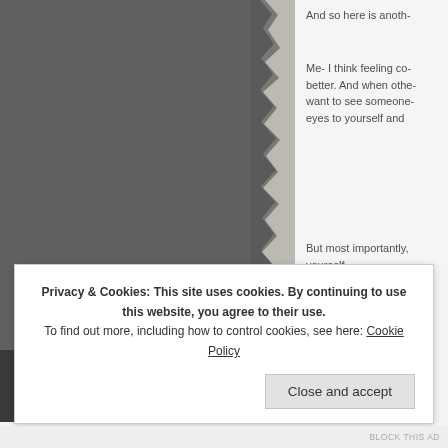[Figure (photo): A dark grey torn-edge photo occupying the left portion of the page, showing a dark abstract or shadowed subject with a torn paper edge effect on the right side.]
And so here is anoth-
Me- I think feeling co- better. And when othe- want to see someone- eyes to yourself and
But most importantly, yourself.
Privacy & Cookies: This site uses cookies. By continuing to use this website, you agree to their use.
To find out more, including how to control cookies, see here: Cookie Policy
Close and accept
BLOCK THIS AD